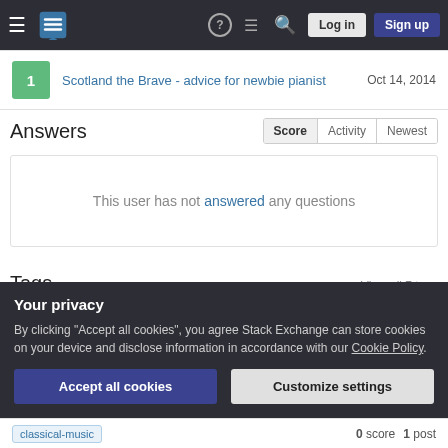Stack Exchange navigation bar with hamburger menu, logo, help, chat, search, Log in, Sign up buttons
1 — Scotland the Brave - advice for newbie pianist — Oct 14, 2014
Answers
This user has not answered any questions
Tags
View all 7 tags
Your privacy
By clicking "Accept all cookies", you agree Stack Exchange can store cookies on your device and disclose information in accordance with our Cookie Policy.
Accept all cookies | Customize settings
classical-music   0 score   1 post